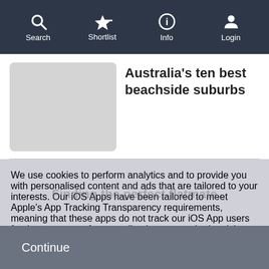Search | Shortlist | Info | Login
[Figure (screenshot): Placeholder thumbnail image for article]
Australia's ten best beachside suburbs
We use cookies to perform analytics and to provide you with personalised content and ads that are tailored to your interests. Our iOS Apps have been tailored to meet Apple's App Tracking Transparency requirements, meaning that these apps do not track our iOS App users for the purposes of personalised or targeted advertising. By clicking "Continue", you accept our use of cookies as outlined in our Cookie Policy.
Finding the perfect flatmate
Continue
Top 5 most unique share accommodation laws